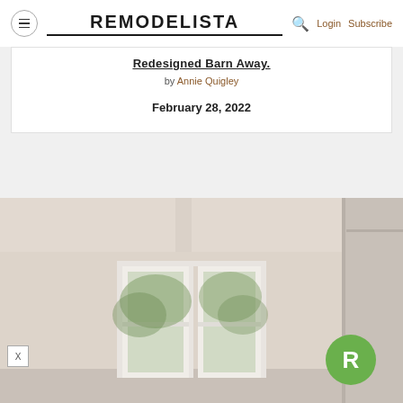REMODELISTA — Login Subscribe
Redesigned Barn Away.
by Annie Quigley
February 28, 2022
[Figure (photo): Interior of a light-colored room with white painted beamed ceiling, white French doors/windows open to green trees outside, soft beige walls. A green circular Remodelista R logo appears in the bottom right corner. An X close button is in the bottom left.]